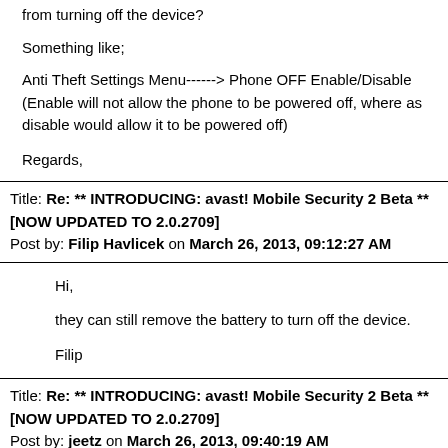from turning off the device?
Something like;
Anti Theft Settings Menu------> Phone OFF Enable/Disable (Enable will not allow the phone to be powered off, where as disable would allow it to be powered off)
Regards,
Title: Re: ** INTRODUCING: avast! Mobile Security 2 Beta ** [NOW UPDATED TO 2.0.2709]
Post by: Filip Havlicek on March 26, 2013, 09:12:27 AM
Hi,
they can still remove the battery to turn off the device.
Filip
Title: Re: ** INTRODUCING: avast! Mobile Security 2 Beta ** [NOW UPDATED TO 2.0.2709]
Post by: jeetz on March 26, 2013, 09:40:19 AM
Thanks for the rep Filip.
I have Xperia-S, pulling out battery is not an option